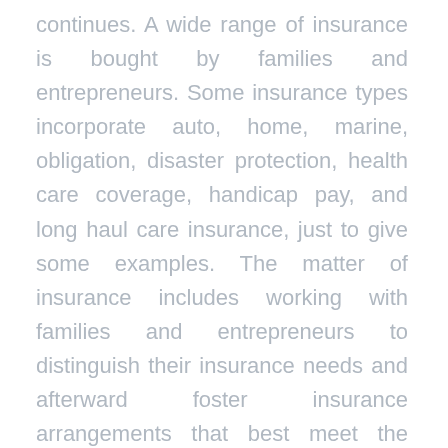continues. A wide range of insurance is bought by families and entrepreneurs. Some insurance types incorporate auto, home, marine, obligation, disaster protection, health care coverage, handicap pay, and long haul care insurance, just to give some examples. The matter of insurance includes working with families and entrepreneurs to distinguish their insurance needs and afterward foster insurance arrangements that best meet the circumstance of the client. The insurance business can be and as a rule will be intricate